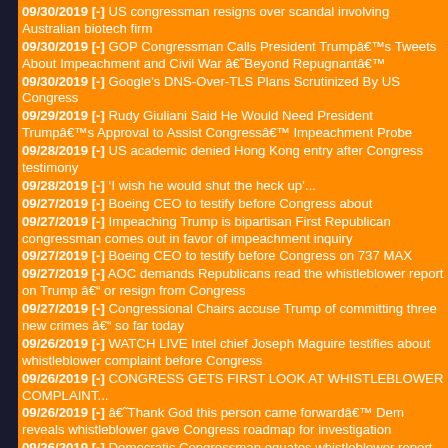09/30/2019 [-] US congressman resigns over scandal involving Australian biotech firm
09/30/2019 [-] GOP Congressman Calls President Trumpâs Tweets About Impeachment and Civil War âBeyond Repugnantâ
09/30/2019 [-] Google’s DNS-Over-TLS Plans Scrutinized By US Congress
09/29/2019 [-] Rudy Giuliani Said He Would Need President Trumpâs Approval to Assist Congressâ Impeachment Probe
09/28/2019 [-] US academic denied Hong Kong entry after Congress testimony
09/28/2019 [-] 'I wish he would shut the heck up'...
09/27/2019 [-] Boeing CEO to testify before Congress about
09/27/2019 [-] Impeaching Trump is bipartisan First Republican congressman comes out in favor of impeachment inquiry
09/27/2019 [-] Boeing CEO to testify before Congress on 737 MAX
09/27/2019 [-] AOC demands Republicans read the whistleblower report on Trump â or resign from Congress
09/27/2019 [-] Congressional Chairs accuse Trump of committing three new crimes â so far today
09/26/2019 [-] WATCH LIVE Intel chief Joseph Maguire testifies about whistleblower complaint before Congress
09/26/2019 [-] CONGRESS GETS FIRST LOOK AT WHISTLEBLOWER COMPLAINT...
09/26/2019 [-] âThank God this person came forwardâ Dem reveals whistleblower gave Congress roadmap for investigation
09/26/2019 [-] Democratic Congressman equates whistleblower report to Trump shooting someone on 5th Avenue
09/26/2019 [-] GOP congressman confusedly asks if Trump sold wild pigs to Ukraine